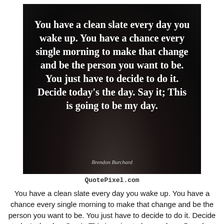[Figure (illustration): Dark textured background image with white bold serif quote text: 'You have a clean slate every day you wake up. You have a chance every single morning to make that change and be the person you want to be. You just have to decide to do it. Decide today's the day. Say it; This is going to be my day.' Attribution at bottom: 'Brendon Burchard']
QuotePixel.com
You have a clean slate every day you wake up. You have a chance every single morning to make that change and be the person you want to be. You just have to decide to do it. Decide today's the day. Say it; This is going to be my day. - Brendon Burchard. View more images...